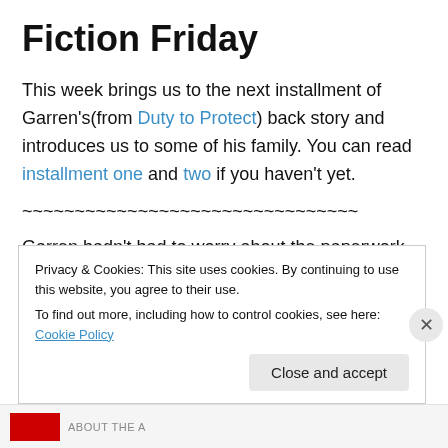Fiction Friday
This week brings us to the next installment of Garren's(from Duty to Protect) back story and introduces us to some of his family. You can read installment one and two if you haven't yet.
~~~~~~~~~~~~~~~~~~~~~~~~~~~~~~~~
Garren hadn't had to worry about the paperwork. Wade had already taken care of it. He just had to sign off on all
Privacy & Cookies: This site uses cookies. By continuing to use this website, you agree to their use.
To find out more, including how to control cookies, see here: Cookie Policy